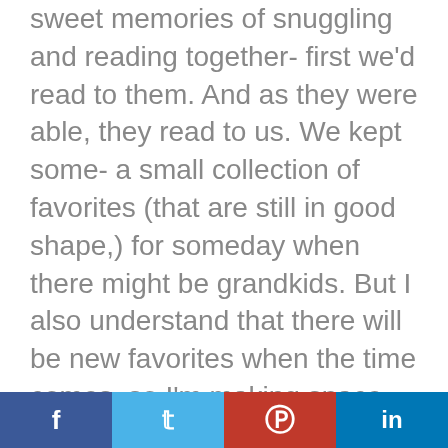sweet memories of snuggling and reading together- first we'd read to them. And as they were able, they read to us. We kept some- a small collection of favorites (that are still in good shape,) for someday when there might be grandkids. But I also understand that there will be new favorites when the time comes, so I'm making space on my shelves and heart for those too.
I love your creative ideas for giving books